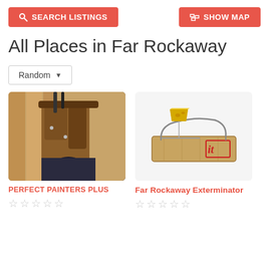SEARCH LISTINGS   SHOW MAP
All Places in Far Rockaway
Random
[Figure (photo): Photo of a construction worker's tool belt with leather pouches and tools, with wooden framing in the background]
PERFECT PAINTERS PLUS
★★★★★ (empty stars)
[Figure (photo): Photo of a wooden mousetrap with a piece of cheese on it, showing a spring-loaded trap with a red logo mark]
Far Rockaway Exterminator
★★★★★ (empty stars)